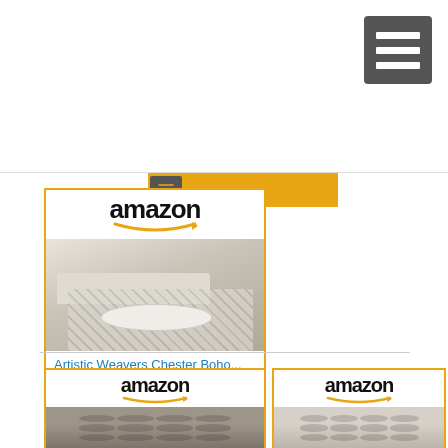[Figure (screenshot): Hamburger menu icon (three horizontal lines) on dark grey background, top right corner]
[Figure (screenshot): Partial Amazon yellow 'Shop now' bar visible at top center]
[Figure (screenshot): Amazon product card: amazon logo, living room rug image, title 'Artistic Weavers Chester Boho...', price $149.60 with Prime badge, yellow 'Shop now' button with Amazon icon]
Artistic Weavers Chester Boho...
$149.60
Shop now
[Figure (screenshot): Partial Amazon product card bottom left: amazon logo and top of tufted wood-frame chair]
[Figure (screenshot): Partial Amazon product card bottom right: amazon logo and top of light upholstered chair]